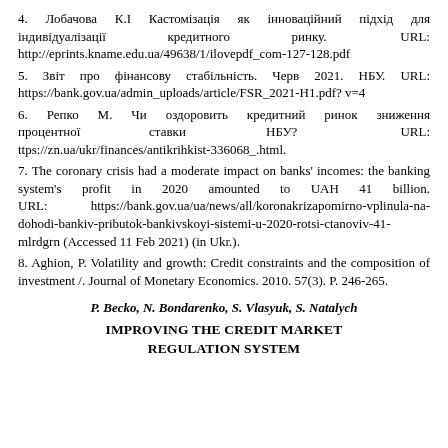4. Лобачова К.І Кастомізація як інноваційний підхід для індивідуалізації кредитного ринку. URL: http://eprints.kname.edu.ua/49638/1/ilovepdf_com-127-128.pdf
5. Звіт про фінансову стабільність. Черв 2021. НБУ. URL: https://bank.gov.ua/admin_uploads/article/FSR_2021-H1.pdf?v=4
6. Репко М. Чи оздоровить кредитний ринок зниження процентної ставки НБУ? URL: ttps://zn.ua/ukr/finances/antikrihkist-336068_.html.
7. The coronary crisis had a moderate impact on banks' incomes: the banking system's profit in 2020 amounted to UAH 41 billion. URL: https://bank.gov.ua/ua/news/all/koronakrizapomirno-vplinula-na-dohodi-bankiv-pributok-bankivskoyi-sistemi-u-2020-rotsi-ctanoviv-41-mlrdgrn (Accessed 11 Feb 2021) (in Ukr.).
8. Aghion, P. Volatility and growth: Credit constraints and the composition of investment /. Journal of Monetary Economics. 2010. 57(3). P. 246-265.
P. Becko, N. Bondarenko, S. Vlasyuk, S. Natalych
IMPROVING THE CREDIT MARKET REGULATION SYSTEM